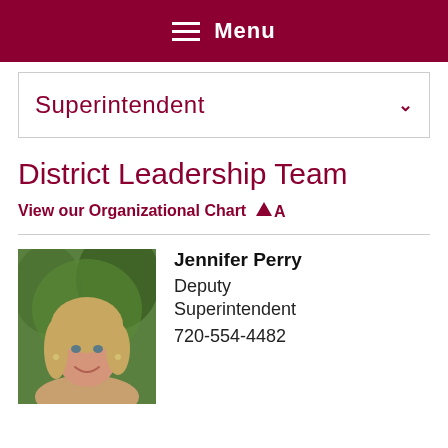Menu
Superintendent
District Leadership Team
View our Organizational Chart
Jennifer Perry
Deputy Superintendent
720-554-4482
[Figure (photo): Headshot photo of Jennifer Perry, a blonde woman smiling, with trees in the background]